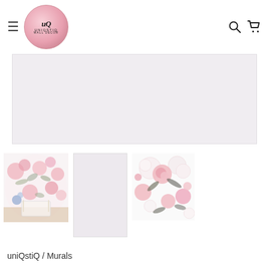uniQstiQ Wall Decor — navigation header with hamburger menu, logo, search and cart icons
[Figure (photo): Large light grey/white banner image placeholder area]
[Figure (photo): Thumbnail 1: Floral wallpaper mural in a nursery/bedroom setting with pink roses and blue flowers]
[Figure (photo): Thumbnail 2: Plain light grey/white rectangle placeholder]
[Figure (photo): Thumbnail 3: Close-up floral pattern with pink roses on white background]
uniQstiQ / Murals